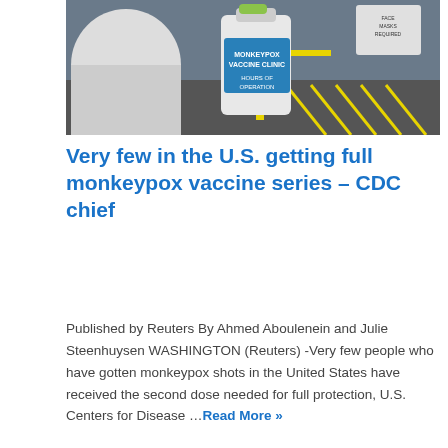[Figure (photo): Outdoor photo of a monkeypox vaccine clinic sign on a white container with yellow railings and parking lot visible]
Very few in the U.S. getting full monkeypox vaccine series – CDC chief
Published by Reuters By Ahmed Aboulenein and Julie Steenhuysen WASHINGTON (Reuters) -Very few people who have gotten monkeypox shots in the United States have received the second dose needed for full protection, U.S. Centers for Disease …Read More »
[Figure (photo): Person wearing a blue jacket photographed against a dark background]